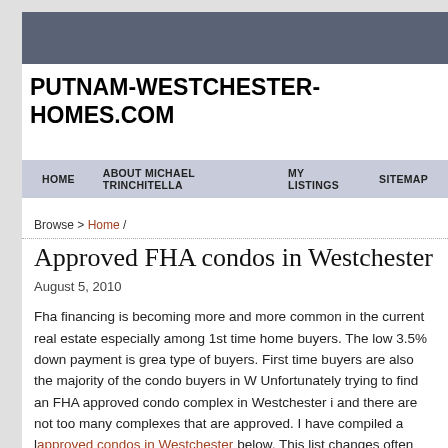PUTNAM-WESTCHESTER-HOMES.COM
HOME   ABOUT MICHAEL TRINCHITELLA   MY LISTINGS   SITEMAP
Browse > Home /
Approved FHA condos in Westchester
August 5, 2010
Fha financing is becoming more and more common in the current real estate especially among 1st time home buyers. The low 3.5% down payment is great for this type of buyers. First time buyers are also the majority of the condo buyers in Westchester. Unfortunately trying to find an FHA approved condo complex in Westchester is hard and there are not too many complexes that are approved. I have compiled a list of approved condos in Westchester below. This list changes often and more ma... in the future or removed.
White Plains – Granada Condos, Minerva Place Condos